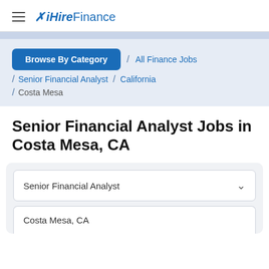iHireFinance
Browse By Category / All Finance Jobs / Senior Financial Analyst / California / Costa Mesa
Senior Financial Analyst Jobs in Costa Mesa, CA
Senior Financial Analyst
Costa Mesa, CA